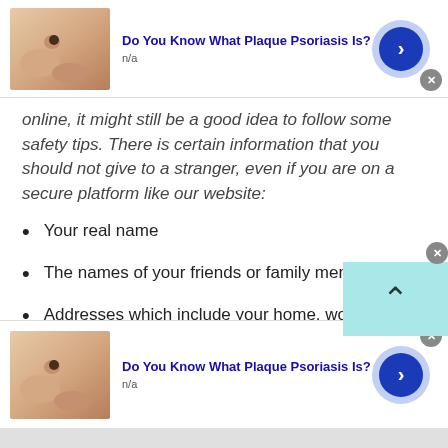[Figure (other): Advertisement banner at top: skin/hand image with mole, title 'Do You Know What Plaque Psoriasis Is?', subtitle 'n/a', blue arrow button, close X button]
online, it might still be a good idea to follow some safety tips. There is certain information that you should not give to a stranger, even if you are on a secure platform like our website:
Your real name
The names of your friends or family members
Addresses which include your home, workplace, or school address
[Figure (other): Advertisement banner at bottom: skin/hand image with mole, title 'Do You Know What Plaque Psoriasis Is?', subtitle 'n/a', blue arrow button, close X button]